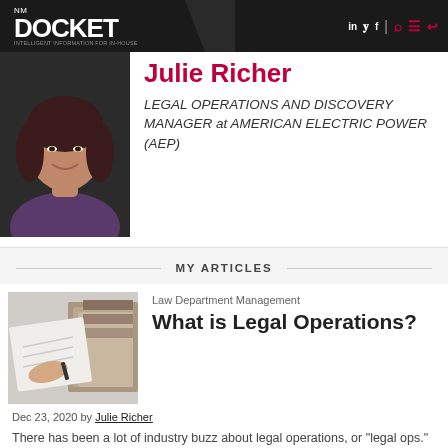NM DOCKET
Julie Richer
LEGAL OPERATIONS AND DISCOVERY MANAGER at AMERICAN ELECTRIC POWER (AEP)
MY ARTICLES
[Figure (photo): Thumbnail photo showing person writing on paper with stacked folders in background]
Law Department Management
What is Legal Operations?
Dec 23, 2020 by Julie Richer
There has been a lot of industry buzz about legal operations, or "legal ops." So, what exactly is legal operations, and why is it important to your department?